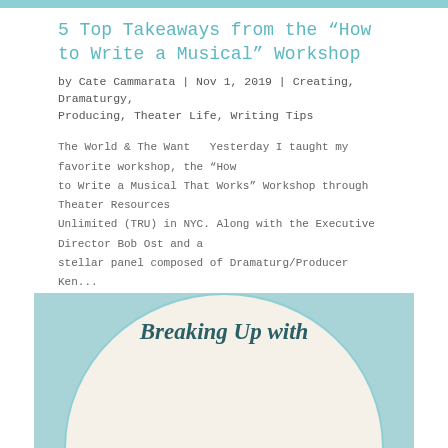5 Top Takeaways from the “How to Write a Musical” Workshop
by Cate Cammarata | Nov 1, 2019 | Creating, Dramaturgy, Producing, Theater Life, Writing Tips
The World & The Want   Yesterday I taught my favorite workshop, the “How to Write a Musical That Works” Workshop through Theater Resources Unlimited (TRU) in NYC. Along with the Executive Director Bob Ost and a stellar panel composed of Dramaturg/Producer Ken...
[Figure (illustration): Light blue background with a large circle containing the text 'Breaking Up with' in dark teal italic bold font, partially visible at bottom of page]